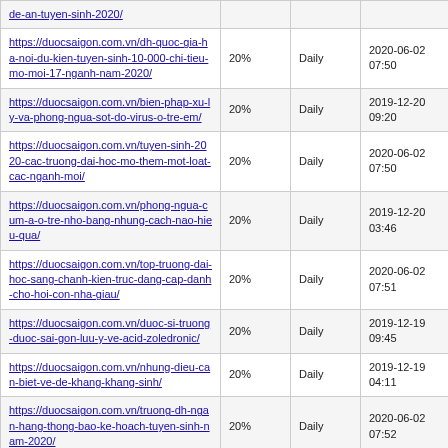| URL | Priority | Change Freq | Last Modified |
| --- | --- | --- | --- |
| https://duocsaigon.com.vn/de-an-tuyen-sinh-2020/ | 20% | Daily |  |
| https://duocsaigon.com.vn/dh-quoc-gia-ha-noi-du-kien-tuyen-sinh-10-000-chi-tieu-mo-moi-17-nganh-nam-2020/ | 20% | Daily | 2020-06-02 07:50 |
| https://duocsaigon.com.vn/bien-phap-xu-ly-va-phong-ngua-sot-do-virus-o-tre-em/ | 20% | Daily | 2019-12-20 09:20 |
| https://duocsaigon.com.vn/tuyen-sinh-2020-cac-truong-dai-hoc-mo-them-mot-loat-cac-nganh-moi/ | 20% | Daily | 2020-06-02 07:50 |
| https://duocsaigon.com.vn/phong-ngua-cum-a-o-tre-nho-bang-nhung-cach-nao-hieu-qua/ | 20% | Daily | 2019-12-20 03:46 |
| https://duocsaigon.com.vn/top-truong-dai-hoc-sang-chanh-kien-truc-dang-cap-danh-cho-hoi-con-nha-giau/ | 20% | Daily | 2020-06-02 07:51 |
| https://duocsaigon.com.vn/duoc-si-truong-duoc-sai-gon-luu-y-ve-acid-zoledronic/ | 20% | Daily | 2019-12-19 09:45 |
| https://duocsaigon.com.vn/nhung-dieu-can-biet-ve-de-khang-khang-sinh/ | 20% | Daily | 2019-12-19 04:11 |
| https://duocsaigon.com.vn/truong-dh-ngan-hang-thong-bao-ke-hoach-tuyen-sinh-nam-2020/ | 20% | Daily | 2020-06-02 07:52 |
| https://duocsaigon.com.vn/dh-cong-nghe-tp-hcm-se-to-chuc-thi-danh-gia-nang-luc-de-tuyen-sinh-2020/ | 20% | Daily | 2020-06-02 07:52 |
| https://duocsaigon.com.vn/hs-truong-... | 20% | Daily |  |